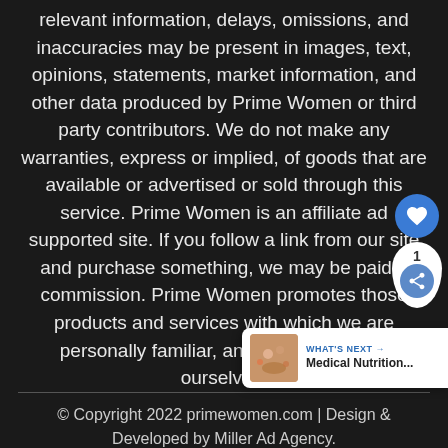relevant information, delays, omissions, and inaccuracies may be present in images, text, opinions, statements, market information, and other data produced by Prime Women or third party contributors. We do not make any warranties, express or implied, of goods that are available or advertised or sold through this service. Prime Women is an affiliate ad supported site. If you follow a link from our site and purchase something, we may be paid a commission. Prime Women promotes those products and services with which we are personally familiar, and oftentimes, use ourselves.
[Figure (infographic): Social share widget with heart/like button (blue circle) and share button with count of 1, teardrop-shaped widget in white]
[Figure (infographic): What's Next widget showing Medical Nutrition... article preview with thumbnail image]
© Copyright 2022 primewomen.com | Design & Developed by Miller Ad Agency.